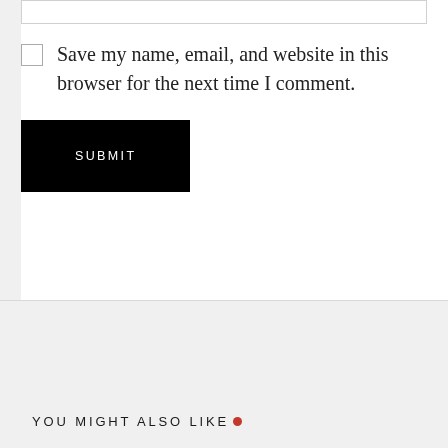Save my name, email, and website in this browser for the next time I comment.
SUBMIT
YOU MIGHT ALSO LIKE.